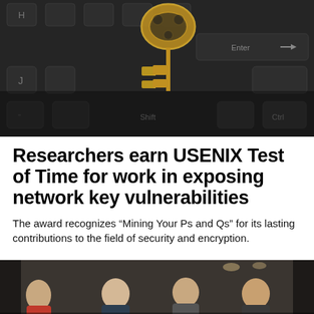[Figure (photo): Close-up photo of a dark keyboard with a golden ornate skeleton key resting on it, near the Enter key]
Researchers earn USENIX Test of Time for work in exposing network key vulnerabilities
The award recognizes “Mining Your Ps and Qs” for its lasting contributions to the field of security and encryption.
[Figure (photo): Photo of a group of people standing indoors in a dim room, appearing to be researchers or award recipients]